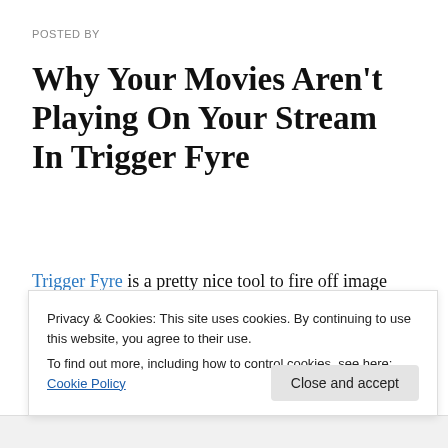POSTED BY
Why Your Movies Aren't Playing On Your Stream In Trigger Fyre
Trigger Fyre is a pretty nice tool to fire off image macros on your stream. You can link it to a stream redemption and make images appear that are fun for your viewers.
There are a pretty large number of tutorials for how to sto
Privacy & Cookies: This site uses cookies. By continuing to use this website, you agree to their use.
To find out more, including how to control cookies, see here: Cookie Policy